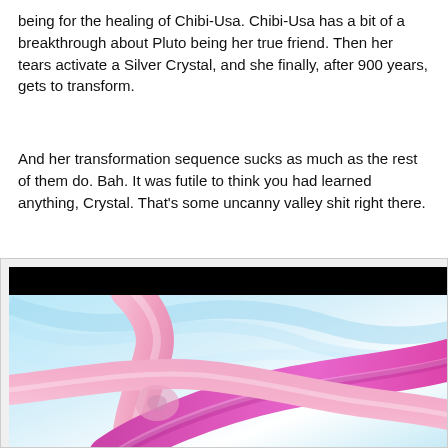being for the healing of Chibi-Usa. Chibi-Usa has a bit of a breakthrough about Pluto being her true friend. Then her tears activate a Silver Crystal, and she finally, after 900 years, gets to transform.
And her transformation sequence sucks as much as the rest of them do. Bah. It was futile to think you had learned anything, Crystal. That's some uncanny valley shit right there.
[Figure (illustration): Anime-style illustration showing pink and magenta ribbon-like swirling shapes against a light blue and white background, with a black bar at the top. Part of a transformation sequence screenshot from Sailor Moon Crystal.]